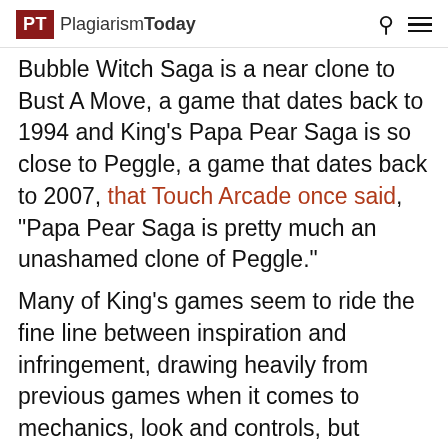PT PlagiarismToday
Bubble Witch Saga is a near clone to Bust A Move, a game that dates back to 1994 and King's Papa Pear Saga is so close to Peggle, a game that dates back to 2007, that Touch Arcade once said, “Papa Pear Saga is pretty much an unashamed clone of Peggle.”
Many of King’s games seem to ride the fine line between inspiration and infringement, drawing heavily from previous games when it comes to mechanics, look and controls, but stopping short of using clearly copyrighted elements.